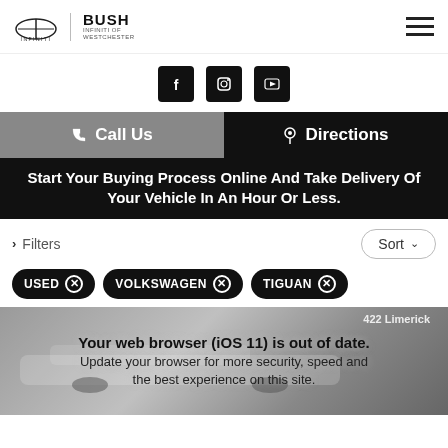[Figure (logo): Infiniti logo and Bush Infiniti of Westchester logo on the left, hamburger menu icon on the right]
[Figure (infographic): Three social media icon buttons: Facebook, Instagram, YouTube - displayed as black square icons with white symbols]
Call Us
Directions
Start Your Buying Process Online And Take Delivery Of Your Vehicle In An Hour Or Less.
> Filters
Sort
USED ×
VOLKSWAGEN ×
TIGUAN ×
[Figure (photo): Partially visible dealership exterior with a white SUV in the foreground. Building shows '422 Limerick' signage.]
Your web browser (iOS 11) is out of date. Update your browser for more security, speed and the best experience on this site.